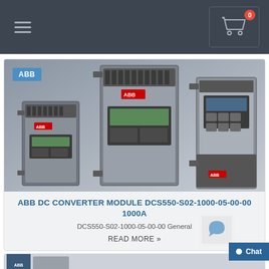Navigation bar with hamburger menu and shopping cart (0 items)
[Figure (photo): ABB DC converter drives/modules arranged together — three gray industrial variable frequency drive units of different sizes with LED displays and ABB branding]
ABB DC CONVERTER MODULE DCS550-S02-1000-05-00-00 1000A
DCS550-S02-1000-05-00-00 General
READ MORE »
[Figure (photo): Partial view of second product card showing ABB equipment]